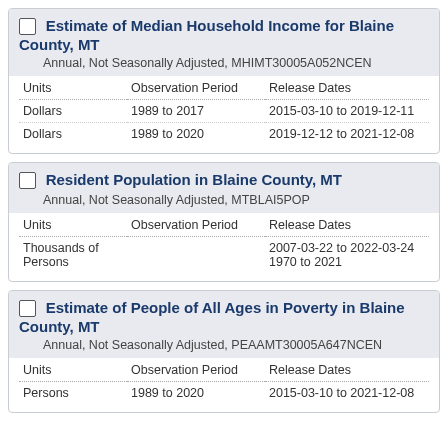Estimate of Median Household Income for Blaine County, MT
Annual, Not Seasonally Adjusted, MHIMT30005A052NCEN
| Units | Observation Period | Release Dates |
| --- | --- | --- |
| Dollars | 1989 to 2017 | 2015-03-10 to 2019-12-11 |
| Dollars | 1989 to 2020 | 2019-12-12 to 2021-12-08 |
Resident Population in Blaine County, MT
Annual, Not Seasonally Adjusted, MTBLAI5POP
| Units | Observation Period | Release Dates |
| --- | --- | --- |
| Thousands of Persons |  | 2007-03-22 to 2022-03-24
1970 to 2021 |
Estimate of People of All Ages in Poverty in Blaine County, MT
Annual, Not Seasonally Adjusted, PEAAMT30005A647NCEN
| Units | Observation Period | Release Dates |
| --- | --- | --- |
| Persons | 1989 to 2020 | 2015-03-10 to 2021-12-08 |